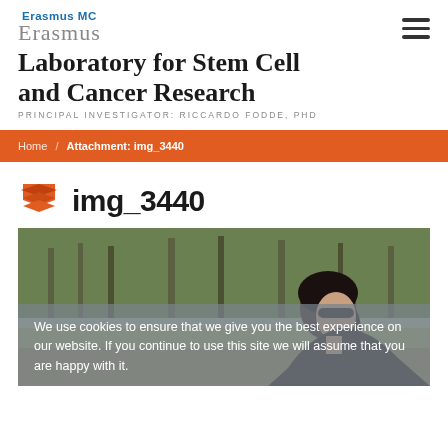[Figure (logo): Erasmus MC Erasmus logo with stylized script text]
Laboratory for Stem Cell and Cancer Research
PRINCIPAL INVESTIGATOR: RICCARDO FODDE, PHD
Home / Attachment: img_3440
img_3440
[Figure (photo): Photo of a woman with dark hair and sunglasses outdoors with trees in background]
We use cookies to ensure that we give you the best experience on our website. If you continue to use this site we will assume that you are happy with it.